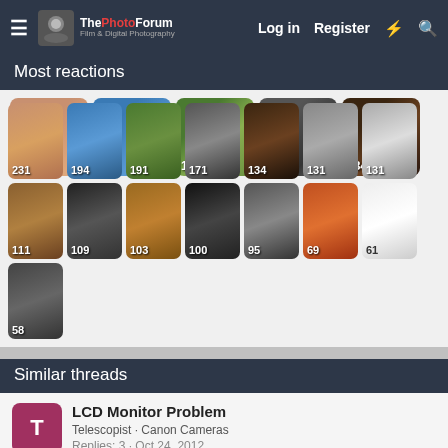The PhotoForum · Log in · Register
Most reactions
[Figure (photo): Grid of 15 user profile/photo thumbnails with reaction counts: 231, 194, 191, 171, 134, 131, 131, 111, 109, 103, 100, 95, 69, 61, 58]
Similar threads
LCD Monitor Problem
Telescopist · Canon Cameras
Replies: 3 · Oct 24, 2012
HELP PLEASE, Fuzzy LCD Screen For My Canon